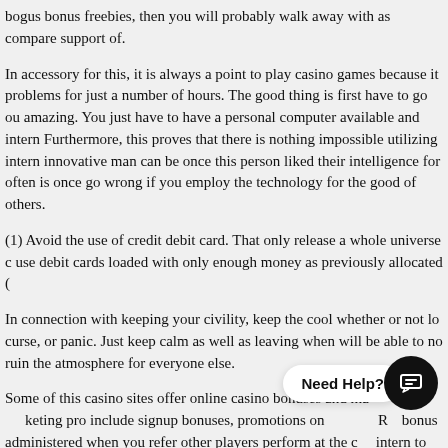bogus bonus freebies, then you will probably walk away with as compare support of.
In accessory for this, it is always a point to play casino games because it problems for just a number of hours. The good thing is first have to go ou amazing. You just have to have a personal computer available and intern Furthermore, this proves that there is nothing impossible utilizing intern innovative man can be once this person liked their intelligence for often is once go wrong if you employ the technology for the good of others.
(1) Avoid the use of credit debit card. That only release a whole universe c use debit cards loaded with only enough money as previously allocated (
In connection with keeping your civility, keep the cool whether or not lo curse, or panic. Just keep calm as well as leaving when will be able to no ruin the atmosphere for everyone else.
Some of this casino sites offer online casino bonuses and marketing pro include signup bonuses, promotions on R bonus administered when you refer other players perform at the c intern to new players when developed their first deposit. Most online sites mat